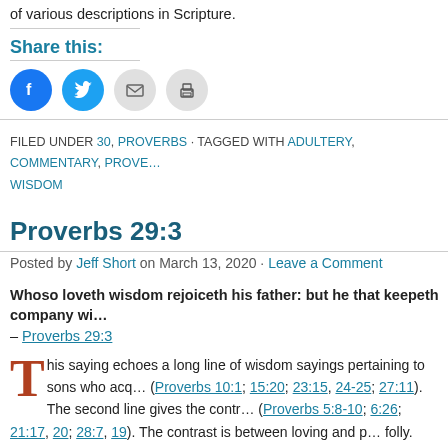of various descriptions in Scripture.
Share this:
[Figure (infographic): Social share icons: Facebook (blue circle), Twitter (blue circle), Email (grey circle), Print (grey circle)]
FILED UNDER 30, PROVERBS · TAGGED WITH ADULTERY, COMMENTARY, PROVE... WISDOM
Proverbs 29:3
Posted by Jeff Short on March 13, 2020 · Leave a Comment
Whoso loveth wisdom rejoiceth his father: but he that keepeth company wi... – Proverbs 29:3
This saying echoes a long line of wisdom sayings pertaining to sons who acq... (Proverbs 10:1; 15:20; 23:15, 24-25; 27:11). The second line gives the contr... (Proverbs 5:8-10; 6:26; 21:17, 20; 28:7, 19). The contrast is between loving and p... folly. Wisdom and folly are personified as women in Proverbs (Proverbs 9:1-18),... through finding a virtuous wife (Proverbs 31:10-31) and folly through chasing pro... Jesus told of such a foolish son, who went on to forsake folly for wisdom (Luke 15...